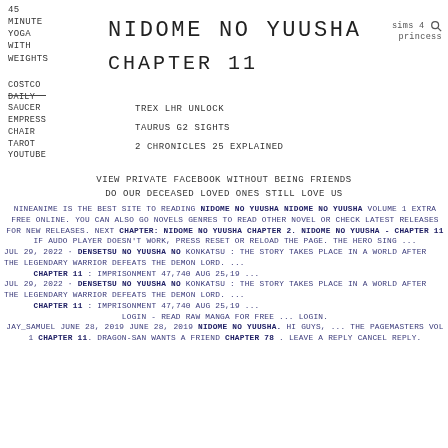45
MINUTE
YOGA
WITH
WEIGHTS
NIDOME NO YUUSHA
CHAPTER 11
sims 4 princess
COSTCO DAILY SAUCER EMPRESS CHAIR TAROT YOUTUBE
TREX LHR UNLOCK
TAURUS G2 SIGHTS
2 CHRONICLES 25 EXPLAINED
VIEW PRIVATE FACEBOOK WITHOUT BEING FRIENDS
DO OUR DECEASED LOVED ONES STILL LOVE US
NINEANIME IS THE BEST SITE TO READING NIDOME NO YUUSHA NIDOME NO YUUSHA VOLUME 1 EXTRA FREE ONLINE. YOU CAN ALSO GO NOVELS GENRES TO READ OTHER NOVEL OR CHECK LATEST RELEASES FOR NEW RELEASES. NEXT CHAPTER: NIDOME NO YUUSHA CHAPTER 2. NIDOME NO YUUSHA - CHAPTER 11 IF AUDO PLAYER DOESN'T WORK, PRESS RESET OR RELOAD THE PAGE. THE HERO SING ...
JUL 29, 2022 · DENSETSU NO YUUSHA NO KONKATSU : THE STORY TAKES PLACE IN A WORLD AFTER THE LEGENDARY WARRIOR DEFEATS THE DEMON LORD. ... CHAPTER 11 : IMPRISONMENT 47,740 AUG 25,19 ...
JUL 29, 2022 · DENSETSU NO YUUSHA NO KONKATSU : THE STORY TAKES PLACE IN A WORLD AFTER THE LEGENDARY WARRIOR DEFEATS THE DEMON LORD. ... CHAPTER 11 : IMPRISONMENT 47,740 AUG 25,19 ...
LOGIN - READ RAW MANGA FOR FREE ... LOGIN.
JAY_SAMUEL JUNE 28, 2019 JUNE 28, 2019 NIDOME NO YUUSHA. HI GUYS, ... THE PAGEMASTERS VOL 1 CHAPTER 11. DRAGON-SAN WANTS A FRIEND CHAPTER 78 . LEAVE A REPLY CANCEL REPLY.